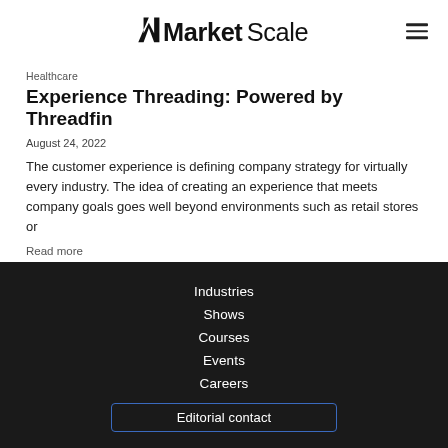MarketScale
Healthcare
Experience Threading: Powered by Threadfin
August 24, 2022
The customer experience is defining company strategy for virtually every industry. The idea of creating an experience that meets company goals goes well beyond environments such as retail stores or
Read more
Industries
Shows
Courses
Events
Careers
Editorial contact